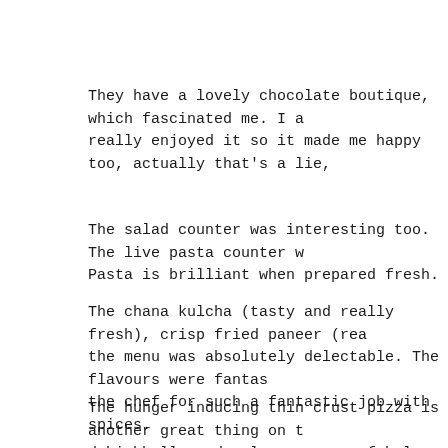They have a lovely chocolate boutique, which fascinated me. I a really enjoyed it so it made me happy too, actually that's a lie,
The salad counter was interesting too. The live pasta counter w Pasta is brilliant when prepared fresh.
The chana kulcha (tasty and really fresh), crisp fried paneer (rea the menu was absolutely delectable. The flavours were fantas the chef for such a fantastic job with spices.
The hunger inducing thin crust pizza is another great thing on t dahi bhalla and gol gappas are fabulous. I do not prefer chaat bu